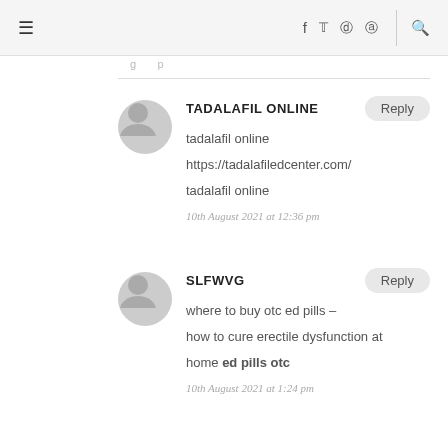≡  f  twitter  instagram  pinterest  🔍
tadalafil online
https://tadalafiledcenter.com/
tadalafil online
10th August 2021 at 12:36 pm
where to buy otc ed pills –
how to cure erectile dysfunction at home ed pills otc
10th August 2021 at 1:24 pm